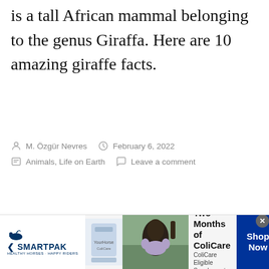is a tall African mammal belonging to the genus Giraffa. Here are 10 amazing giraffe facts.
M. Özgür Nevres  February 6, 2022  Animals, Life on Earth  Leave a comment
[Figure (other): SmartPak advertisement banner: 50% Off Two Months of ColiCare, ColiCare Eligible Supplements, CODE: COLICARE10. Shop Now button. Shows SmartPak logo with horse icon, product image, and photo of person with horse.]